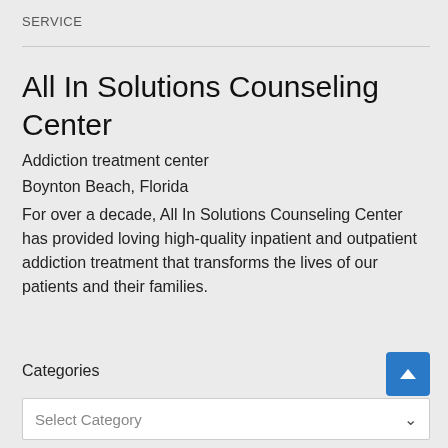SERVICE
All In Solutions Counseling Center
Addiction treatment center
Boynton Beach, Florida
For over a decade, All In Solutions Counseling Center has provided loving high-quality inpatient and outpatient addiction treatment that transforms the lives of our patients and their families.
Categories
Select Category